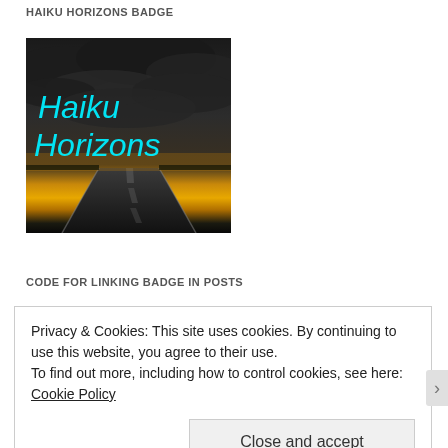HAIKU HORIZONS BADGE
[Figure (illustration): Badge image showing a dark dramatic sky with storm clouds and a road vanishing into the horizon at sunset/golden hour, with cyan italic text 'Haiku Horizons' overlaid on the image]
CODE FOR LINKING BADGE IN POSTS
Privacy & Cookies: This site uses cookies. By continuing to use this website, you agree to their use.
To find out more, including how to control cookies, see here: Cookie Policy
Close and accept